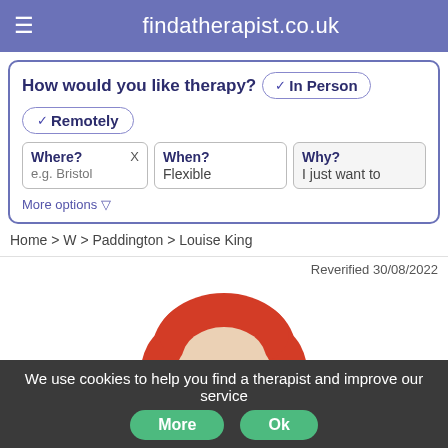findatherapist.co.uk
How would you like therapy? ✓In Person ✓Remotely
Where? e.g. Bristol  |  When? Flexible  |  Why? I just want to
More options ▽
Home > W > Paddington > Louise King
Reverified 30/08/2022
[Figure (photo): Profile photo of Louise King showing red hair, partially visible, blurred/cropped.]
We use cookies to help you find a therapist and improve our service